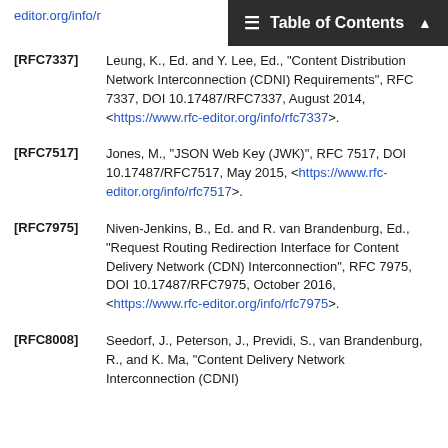Table of Contents
[RFC7337] Leung, K., Ed. and Y. Lee, Ed., "Content Distribution Network Interconnection (CDNI) Requirements", RFC 7337, DOI 10.17487/RFC7337, August 2014, <https://www.rfc-editor.org/info/rfc7337>.
[RFC7517] Jones, M., "JSON Web Key (JWK)", RFC 7517, DOI 10.17487/RFC7517, May 2015, <https://www.rfc-editor.org/info/rfc7517>.
[RFC7975] Niven-Jenkins, B., Ed. and R. van Brandenburg, Ed., "Request Routing Redirection Interface for Content Delivery Network (CDN) Interconnection", RFC 7975, DOI 10.17487/RFC7975, October 2016, <https://www.rfc-editor.org/info/rfc7975>.
[RFC8008] Seedorf, J., Peterson, J., Previdi, S., van Brandenburg, R., and K. Ma, "Content Delivery Network Interconnection (CDNI)